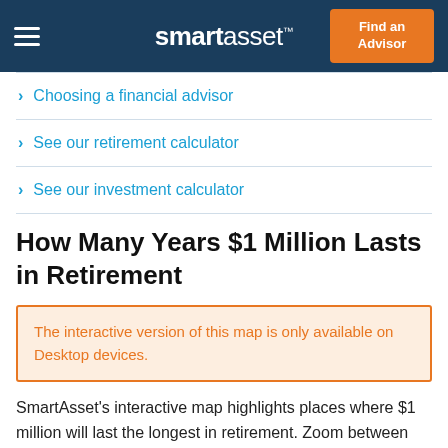smartasset™  Find an Advisor
Choosing a financial advisor
See our retirement calculator
See our investment calculator
How Many Years $1 Million Lasts in Retirement
The interactive version of this map is only available on Desktop devices.
SmartAsset's interactive map highlights places where $1 million will last the longest in retirement. Zoom between states and the nation, to see the largest retirement savings gaps.